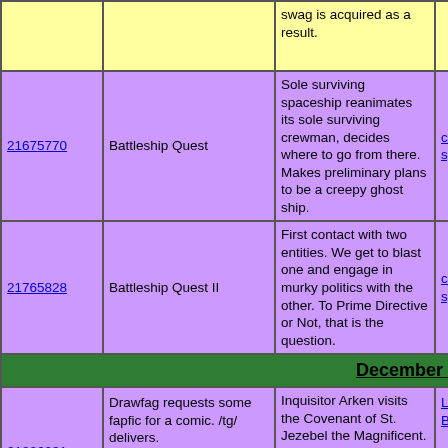| ID | Name | Description | Links |
| --- | --- | --- | --- |
|  |  | swag is acquired as a result. |  |
| 21675770 | Battleship Quest | Sole surviving spaceship reanimates its sole surviving crewman, decides where to go from there. Makes preliminary plans to be a creepy ghost ship. | colle... spac... |
| 21765828 | Battleship Quest II | First contact with two entities. We get to blast one and engage in murky politics with the other. To Prime Directive or Not, that is the question. | colle... spac... |
| December 2012 |  |  |  |
| 21826031 | Drawfag requests some fapfic for a comic. /tg/ delivers. | Inquisitor Arken visits the Covenant of St. Jezebel the Magnificent. Shit gets hot, heavy, and then downright... | Lew... Batt... |